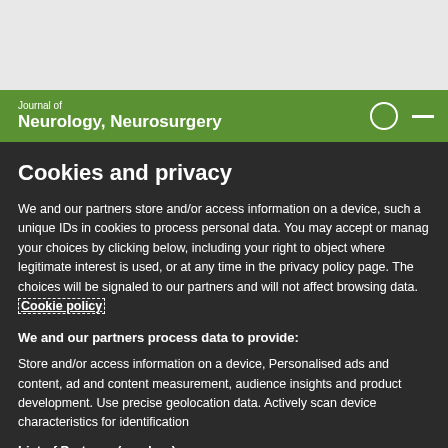Journal of Neurology, Neurosurgery
Cookies and privacy
We and our partners store and/or access information on a device, such as unique IDs in cookies to process personal data. You may accept or manage your choices by clicking below, including your right to object where legitimate interest is used, or at any time in the privacy policy page. These choices will be signaled to our partners and will not affect browsing data. Cookie policy
We and our partners process data to provide:
Store and/or access information on a device, Personalised ads and content, ad and content measurement, audience insights and product development. Use precise geolocation data. Actively scan device characteristics for identification
List of Partners (vendors)